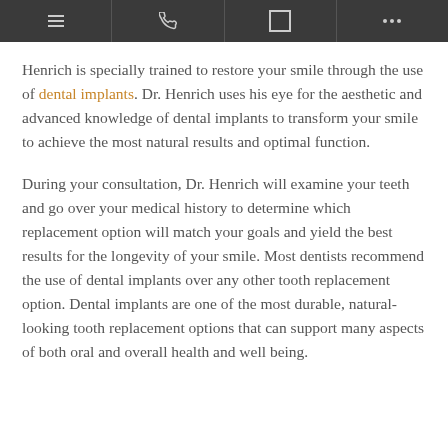[navigation bar with menu, phone, square, dots icons]
Henrich is specially trained to restore your smile through the use of dental implants. Dr. Henrich uses his eye for the aesthetic and advanced knowledge of dental implants to transform your smile to achieve the most natural results and optimal function.
During your consultation, Dr. Henrich will examine your teeth and go over your medical history to determine which replacement option will match your goals and yield the best results for the longevity of your smile. Most dentists recommend the use of dental implants over any other tooth replacement option. Dental implants are one of the most durable, natural-looking tooth replacement options that can support many aspects of both oral and overall health and well being.